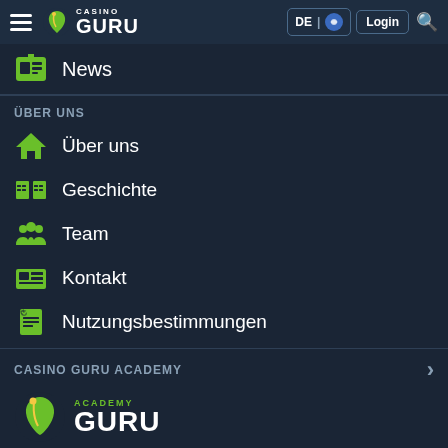Casino Guru — DE | Login
News
ÜBER UNS
Über uns
Geschichte
Team
Kontakt
Nutzungsbestimmungen
CASINO GURU ACADEMY
[Figure (logo): Academy Guru logo with leaf icon]
Kostenlose professionelle Weiterbildungskurse speziell für Mitarbeiter von Online-Casinos, die sich auf die Erfahrungen aus der Branche stützen, und die auf die Verbesserung der Spielerschutz...